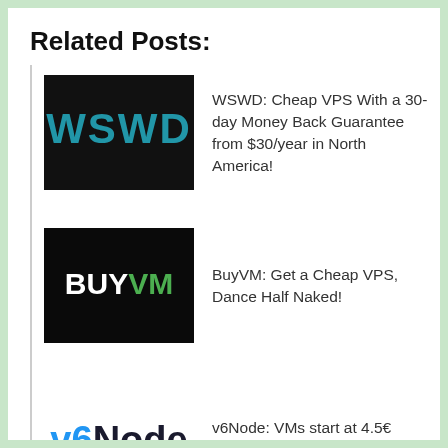Related Posts:
[Figure (logo): WSWD logo: white bold text 'WSWD' in teal/blue color on black square background]
WSWD: Cheap VPS With a 30-day Money Back Guarantee from $30/year in North America!
[Figure (logo): BuyVM logo: 'BUY' in white bold text and 'VM' in green text on black square background]
BuyVM: Get a Cheap VPS, Dance Half Naked!
[Figure (logo): v6Node logo: 'v6' in blue and 'Node' in dark text on white background]
v6Node: VMs start at 4.5€ /year in Germany!